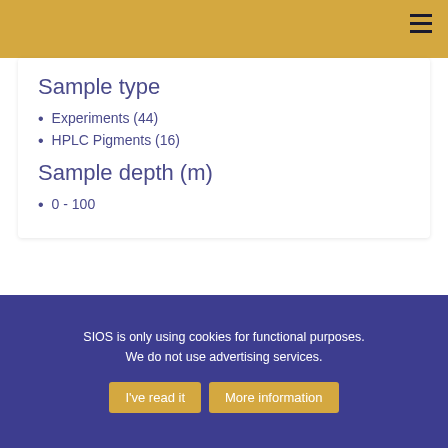Sample type
Experiments (44)
HPLC Pigments (16)
Sample depth (m)
0 - 100
SIOS Knowledge Centre
PO Box 156
N - 9171 Longyearbyen
SIOS is only using cookies for functional purposes.

We do not use advertising services.
I've read it   More information